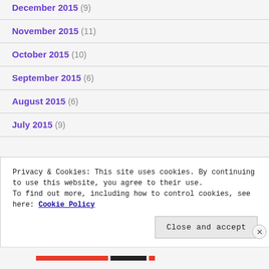December 2015 (9)
November 2015 (11)
October 2015 (10)
September 2015 (6)
August 2015 (6)
July 2015 (9)
Privacy & Cookies: This site uses cookies. By continuing to use this website, you agree to their use.
To find out more, including how to control cookies, see here: Cookie Policy
Close and accept